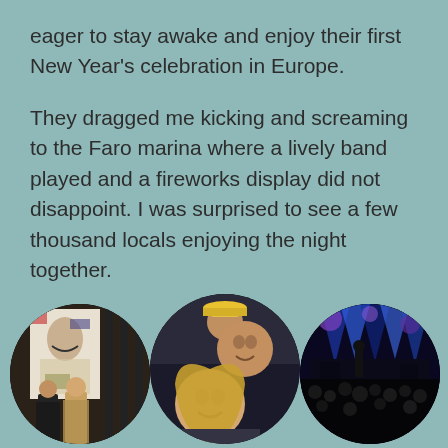eager to stay awake and enjoy their first New Year's celebration in Europe.
They dragged me kicking and screaming to the Faro marina where a lively band played and a fireworks display did not disappoint. I was surprised to see a few thousand locals enjoying the night together.
[Figure (photo): Three circular photos: left shows a couple standing in front of a large abstract portrait artwork in a gallery; middle shows a smiling couple selfie (man in yellow cap, woman with blonde hair); right shows a concert venue with blue stage lighting and crowd.]